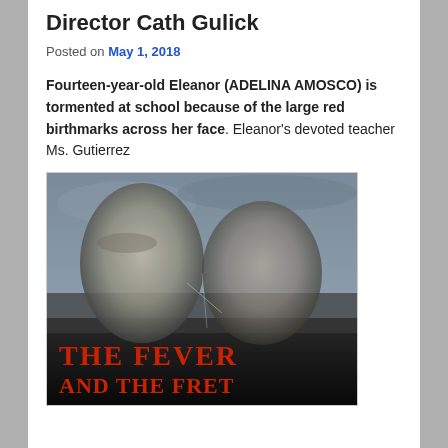Director Cath Gulick
Posted on May 1, 2018
Fourteen-year-old Eleanor (ADELINA AMOSCO) is tormented at school because of the large red birthmarks across her face. Eleanor's devoted teacher Ms. Gutierrez
[Figure (photo): Movie poster for 'The Fever and the Fret' — greyscale image of two faces back to back with red title text at bottom]